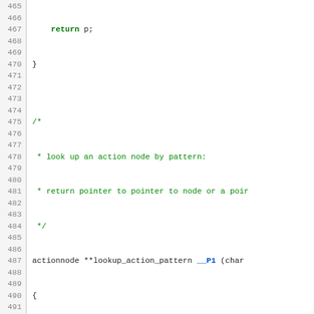Source code listing showing C functions: lookup_action_pattern and lookup_prompt, with line numbers 465-495.